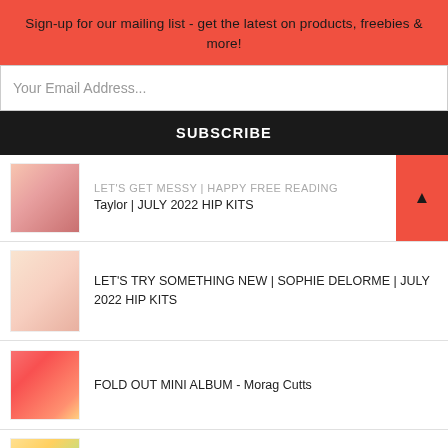Sign-up for our mailing list - get the latest on products, freebies & more!
Your Email Address...
SUBSCRIBE
Taylor | JULY 2022 HIP KITS
LET'S TRY SOMETHING NEW | SOPHIE DELORME | JULY 2022 HIP KITS
FOLD OUT MINI ALBUM - Morag Cutts
LET'S CREATE WITH OUR MAIN KIT | ROMY BOXSEM | JUNE 2022 HIP KITS